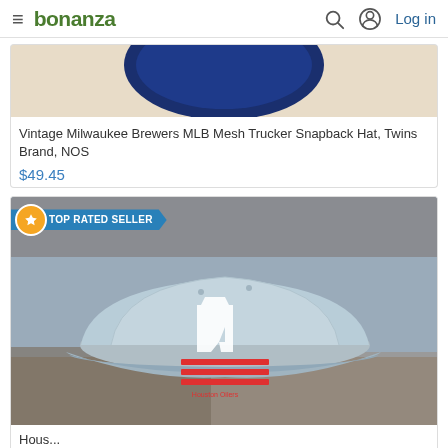bonanza — Log in
[Figure (photo): Partial view of a Vintage Milwaukee Brewers MLB Mesh Trucker Snapback Hat showing top of blue cap on beige/wood background]
Vintage Milwaukee Brewers MLB Mesh Trucker Snapback Hat, Twins Brand, NOS
$49.45
[Figure (photo): Light blue/grey Houston Oilers style snapback hat with red Oilers logo (oil derrick) and red stripes, on granite countertop background. TOP RATED SELLER badge in upper left.]
Hous... (truncated product title)